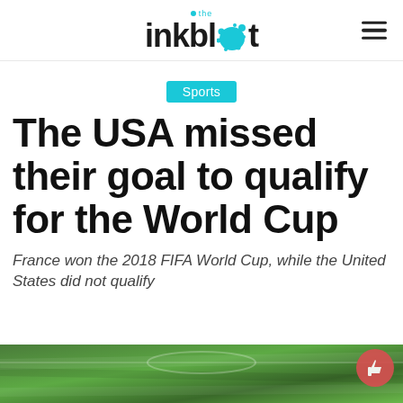the inkblot
Sports
The USA missed their goal to qualify for the World Cup
France won the 2018 FIFA World Cup, while the United States did not qualify
[Figure (photo): Soccer/football field grass close-up, green turf with field markings visible, bottom of page]